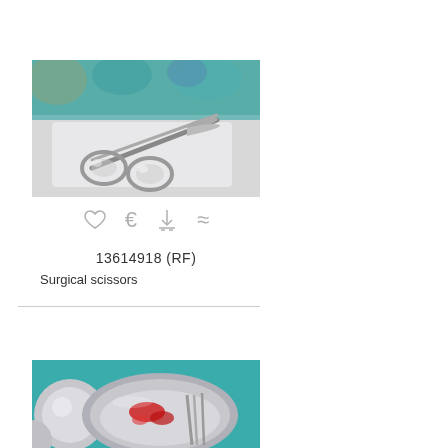[Figure (photo): Surgical scissors resting on white cloth/gauze on a surgical tray, with blurred colorful background (orange, teal)]
♡  €  ⬇  ≈
13614918 (RF)
Surgical scissors
[Figure (photo): Surgical bowl/tray (stainless steel) on teal background with blood and surgical instruments (scissors or forceps)]